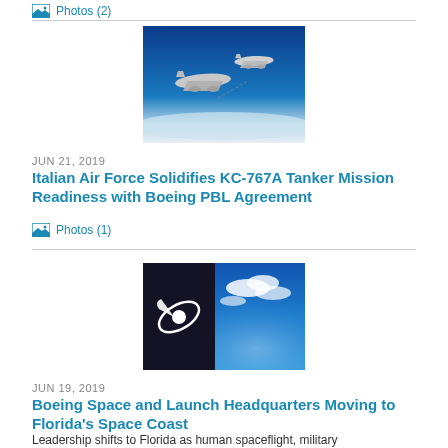Photos (2)
[Figure (photo): Two KC-767A tanker aircraft in flight against a blue sky]
JUN 21, 2019
Italian Air Force Solidifies KC-767A Tanker Mission Readiness with Boeing PBL Agreement
Photos (1)
[Figure (photo): Boeing logo on a building against a blue cloudy sky]
JUN 19, 2019
Boeing Space and Launch Headquarters Moving to Florida's Space Coast
Leadership shifts to Florida as human spaceflight, military